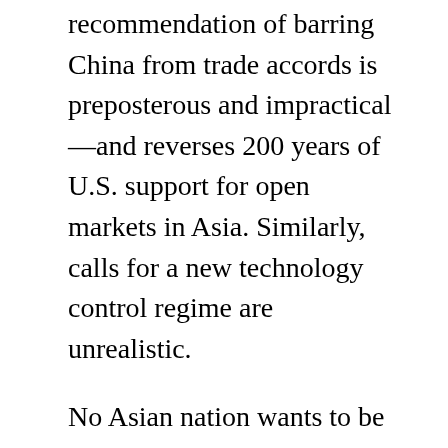recommendation of barring China from trade accords is preposterous and impractical—and reverses 200 years of U.S. support for open markets in Asia. Similarly, calls for a new technology control regime are unrealistic.
No Asian nation wants to be forced to choose between the United States and China, as the CFR report points out. But it then advocates policies that would do exactly that. And we saw in the AIIB episode that on economic issues, countries will not choose to exclude China. The CFR report sees fundamentally conflicting U.S. and Chinese strategies and seeks a stronger balance against China to maintain American primacy. The